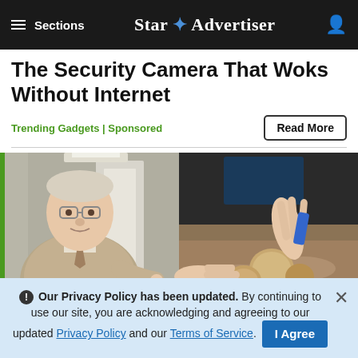≡ Sections  Star ✦ Advertiser
The Security Camera That Woks Without Internet
Trending Gadgets | Sponsored
Read More
[Figure (photo): Two-panel image: left shows an older man in a suit and glasses pointing at something; right shows hands examining small round objects in sand/soil.]
ℹ Our Privacy Policy has been updated. By continuing to use our site, you are acknowledging and agreeing to our updated Privacy Policy and our Terms of Service. I Agree